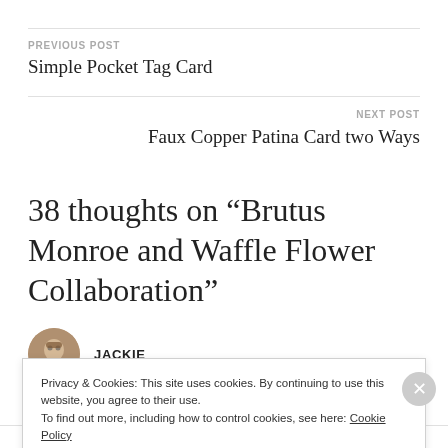PREVIOUS POST
Simple Pocket Tag Card
NEXT POST
Faux Copper Patina Card two Ways
38 thoughts on “Brutus Monroe and Waffle Flower Collaboration”
JACKIE
Privacy & Cookies: This site uses cookies. By continuing to use this website, you agree to their use.
To find out more, including how to control cookies, see here: Cookie Policy
Close and accept